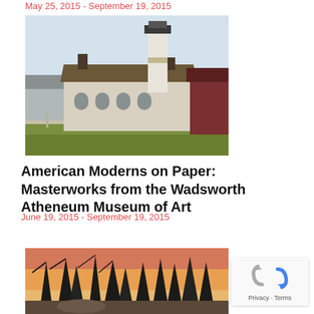May 25, 2015 - September 19, 2015
[Figure (photo): Painting of a lighthouse with attached keeper's house, painted in a realistic American modernist style. A white lighthouse tower rises above a brown-roofed building with arched windows. Wooden fence in the foreground, additional structures on the sides.]
American Moderns on Paper: Masterworks from the Wadsworth Atheneum Museum of Art
June 19, 2015 - September 19, 2015
[Figure (photo): Painting depicting a forest scene at dusk or sunset with dark silhouetted pine trees against an orange and red sky. Rocky terrain visible in the lower portion.]
[Figure (other): reCAPTCHA widget showing the Google reCAPTCHA icon (circular arrows) and links for Privacy and Terms.]